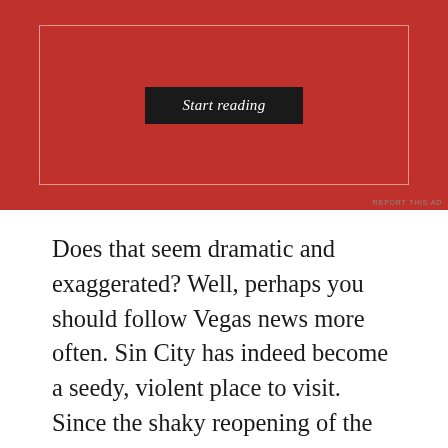[Figure (screenshot): Advertisement banner with red background showing a 'Start reading' button inside a white-bordered rectangle]
Does that seem dramatic and exaggerated? Well, perhaps you should follow Vegas news more often. Sin City has indeed become a seedy, violent place to visit. Since the shaky reopening of the Strip, downtown and surrounding areas, the shootings, muggings, murders, suicides, protests, riots and brawls have become rather routine. Sounds like the perfect vacation spot, doesn't it? Just bring your bulletproof vest and join in on the fun.